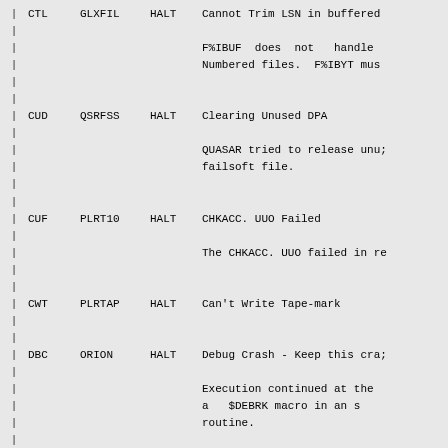| Code | Module | Type | Description |
| --- | --- | --- | --- |
| CTL | GLXFIL | HALT | Cannot Trim LSN in buffered |
|  |  |  | F%IBUF does not handle
Numbered files.  F%IBYT mus |
| CUD | QSRFSS | HALT | Clearing Unused DPA |
|  |  |  | QUASAR tried to release unu;
failsoft file. |
| CUF | PLRT10 | HALT | CHKACC. UUO Failed |
|  |  |  | The CHKACC. UUO failed in re |
| CWT | PLRTAP | HALT | Can't Write Tape-mark |
| DBC | ORION | HALT | Debug Crash - Keep this cra; |
|  |  |  | Execution continued at the
a   $DEBRK macro in an s
routine. |
| DDC | OPRPAR | HALT | Device Designator Conversio |